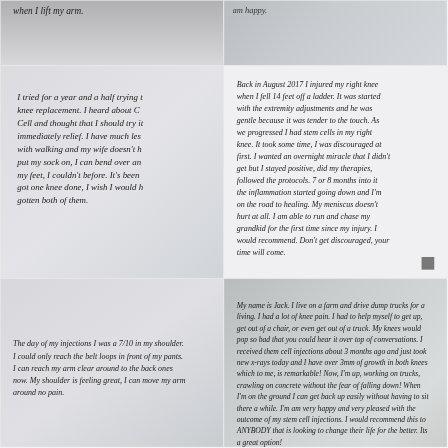when I lift my arm.
am happy.
I tried for a year and a half trying to avoid a knee replacement. I heard about C... Cell and thought that I should try it immediately relief. I have much less difficulty with walking and my wife doesn't have to put my sock on, I can bend over and touch my feet, I couldn't before. It's been... got one knee done, I wish I would have gotten both of them.
Back in August 2017 I injured my right knee when I fell 14 feet off a ladder. It was started with the extremity adjustments and he was gentle because it was tender to the touch. As we progressed I had stem cells in my right knee. It took some time, I was discouraged at first. I wanted an overnight miracle that I didn't get but I stayed positive, did my therapies, followed the protocols. 7 or 8 months into it the inflammation started going down and I'm on the road to healing. My meniscus doesn't hurt at all. I am able to run and chase my grandkid for the first time since my injury. I would recommend. Don't get discouraged, your time will come.
The day of my injections I was a 7/10 in my shoulder. I could only reach the belt loops in front of my pants. I can reach my arm clear around to the back ones now. My shoulder is feeling great, I can move my arm around no pain.
My name is Jack. I live on a farm and drive dump trucks for a living. I had a lot of knee pain. I had to help myself to get up, get out of a chair, or even get out of a truck. My knees would pop so bad that you could hear it over top of conversations. I received them cell injections about 3 months ago and just took new x-rays today and I have over 3mm of growth in both knees which to me, is remarkable! Now, I'm up, working on trucks, crawling on concrete without the fear of falling down! When I'm on the ground I can get back up easily without having to sit there a while. I'm am very happy and very pleased with the outcome of my stem cell injections. I would recommend this to ANYBODY that is looking to change their life for the better. Its a great option!